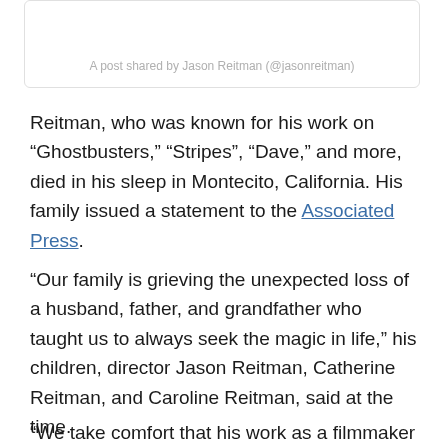[Figure (screenshot): Instagram post embed card with caption text 'A post shared by Jason Reitman (@jasonreitman)']
Reitman, who was known for his work on “Ghostbusters,” “Stripes”, “Dave,” and more, died in his sleep in Montecito, California. His family issued a statement to the Associated Press.
“Our family is grieving the unexpected loss of a husband, father, and grandfather who taught us to always seek the magic in life,” his children, director Jason Reitman, Catherine Reitman, and Caroline Reitman, said at the time.
“We take comfort that his work as a filmmaker